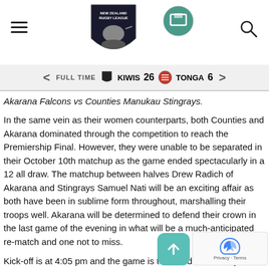New Zealand Rugby League website header with logo, hamburger menu, and search icon
FULL TIME  KIWIS 26  TONGA 6
Akarana Falcons vs Counties Manukau Stingrays.
In the same vein as their women counterparts, both Counties and Akarana dominated through the competition to reach the Premiership Final. However, they were unable to be separated in their October 10th matchup as the game ended spectacularly in a 12 all draw. The matchup between halves Drew Radich of Akarana and Stingrays Samuel Nati will be an exciting affair as both have been in sublime form throughout, marshalling their troops well. Akarana will be determined to defend their crown in the last game of the evening in what will be a much-anticipated re-match and one not to miss.
Kick-off is at 4:05 pm and the game is televised live on Sky and Fox Sport / Foxtel.